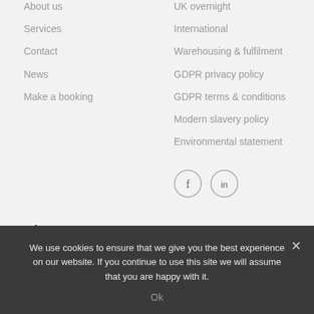About us
Services
Contact
News
Make a booking
UK overnight
International
Warehousing & fulfilment
GDPR privacy policy
GDPR terms & conditions
Modern slavery policy
Environmental statement
[Figure (illustration): Facebook and LinkedIn social media icon circles]
About us
Our vision is to shape the future of logistics with a smart delivery network that offers choice and flexibility for customers, using
We use cookies to ensure that we give you the best experience on our website. If you continue to use this site we will assume that you are happy with it.
Ok